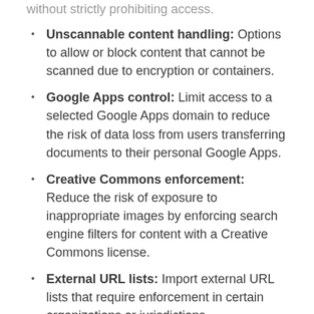without strictly prohibiting access.
Unscannable content handling: Options to allow or block content that cannot be scanned due to encryption or containers.
Google Apps control: Limit access to a selected Google Apps domain to reduce the risk of data loss from users transferring documents to their personal Google Apps.
Creative Commons enforcement: Reduce the risk of exposure to inappropriate images by enforcing search engine filters for content with a Creative Commons license.
External URL lists: Import external URL lists that require enforcement in certain organizations or jurisdictions.